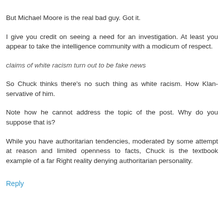But Michael Moore is the real bad guy. Got it.
I give you credit on seeing a need for an investigation. At least you appear to take the intelligence community with a modicum of respect.
claims of white racism turn out to be fake news
So Chuck thinks there's no such thing as white racism. How Klan-servative of him.
Note how he cannot address the topic of the post. Why do you suppose that is?
While you have authoritarian tendencies, moderated by some attempt at reason and limited openness to facts, Chuck is the textbook example of a far Right reality denying authoritarian personality.
Reply